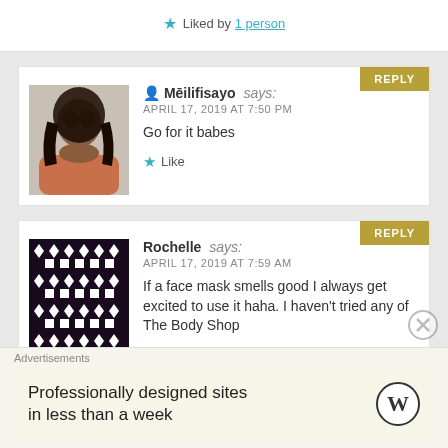★ Liked by 1 person
REPLY
Mēilifisayo says: APRIL 17, 2019 AT 7:50 PM
Go for it babes
★ Like
REPLY
Rochelle says: APRIL 17, 2019 AT 7:59 AM
If a face mask smells good I always get excited to use it haha. I haven't tried any of The Body Shop
Advertisements
Professionally designed sites in less than a week